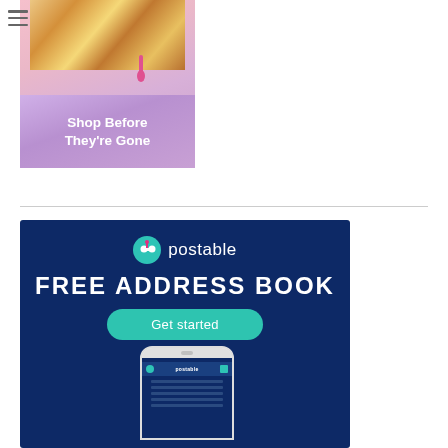[Figure (photo): Advertisement showing a gold metallic purse/clutch on a pink background with text 'Shop Before They're Gone']
[Figure (illustration): Postable advertisement on dark navy background showing the Postable logo, 'FREE ADDRESS BOOK' text, a teal 'Get started' button, and a smartphone mockup showing the Postable app]